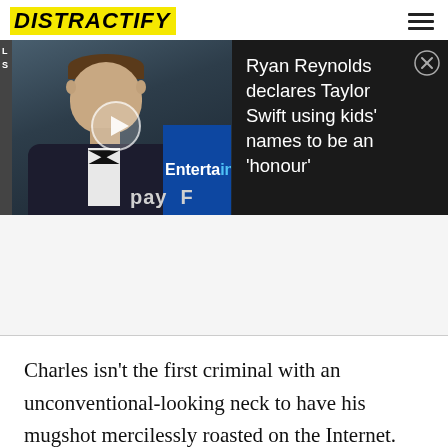DISTRACTIFY
[Figure (screenshot): Video thumbnail showing Ryan Reynolds at an event with 'Entertain' text on blue background, with play button overlay. Right side shows article title text on dark background.]
Ryan Reynolds declares Taylor Swift using kids' names to be an 'honour'
Charles isn't the first criminal with an unconventional-looking neck to have his mugshot mercilessly roasted on the Internet. 52-year-old Robert Barteau, a convicted sex offender...